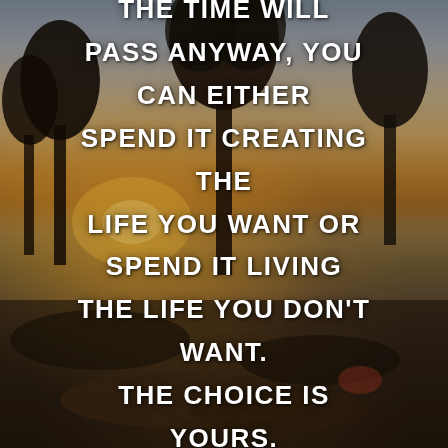[Figure (photo): Outdoor nature scene at golden hour/sunset with tall pine tree silhouettes against a pale grey-blue sky, warm golden light emanating from the lower left horizon over a field, with foreground objects on the ground in shadow.]
THE TIME WILL PASS ANYWAY, YOU CAN EITHER SPEND IT CREATING THE LIFE YOU WANT OR SPEND IT LIVING THE LIFE YOU DON'T WANT. THE CHOICE IS YOURS.